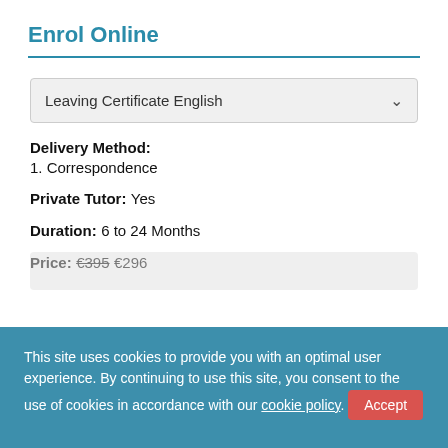Enrol Online
Leaving Certificate English
Delivery Method: 1. Correspondence
Private Tutor: Yes
Duration: 6 to 24 Months
Price: €395 €296
This site uses cookies to provide you with an optimal user experience. By continuing to use this site, you consent to the use of cookies in accordance with our cookie policy. Accept